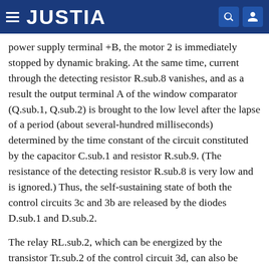JUSTIA
power supply terminal +B, the motor 2 is immediately stopped by dynamic braking. At the same time, current through the detecting resistor R.sub.8 vanishes, and as a result the output terminal A of the window comparator (Q.sub.1, Q.sub.2) is brought to the low level after the lapse of a period (about several-hundred milliseconds) determined by the time constant of the circuit constituted by the capacitor C.sub.1 and resistor R.sub.9. (The resistance of the detecting resistor R.sub.8 is very low and is ignored.) Thus, the self-sustaining state of both the control circuits 3c and 3b are released by the diodes D.sub.1 and D.sub.2.
The relay RL.sub.2, which can be energized by the transistor Tr.sub.2 of the control circuit 3d, can also be energized by the manual switch 1. If the period of persistence of the contact between the movable contact